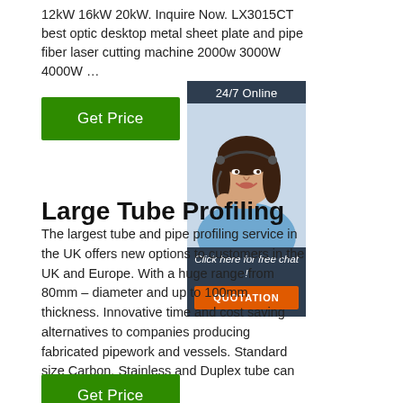12kW 16kW 20kW. Inquire Now. LX3015CT best optic desktop metal sheet plate and pipe fiber laser cutting machine 2000w 3000W 4000W …
Get Price
[Figure (photo): Customer support agent woman with headset, smiling, with 24/7 Online header and chat widget overlay showing 'Click here for free chat!' and QUOTATION button]
Large Tube Profiling
The largest tube and pipe profiling service in the UK offers new options to customers in the UK and Europe. With a huge range from 80mm – diameter and up to 100mm thickness. Innovative time and cost saving alternatives to companies producing fabricated pipework and vessels. Standard size Carbon, Stainless and Duplex tube can be cut ...
Get Price